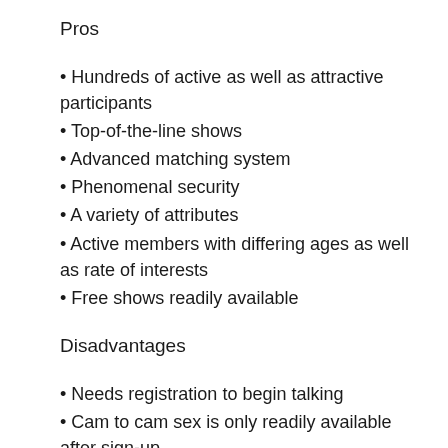Pros
Hundreds of active as well as attractive participants
Top-of-the-line shows
Advanced matching system
Phenomenal security
A variety of attributes
Active members with differing ages as well as rate of interests
Free shows readily available
Disadvantages
Needs registration to begin talking
Cam to cam sex is only readily available after sign-up